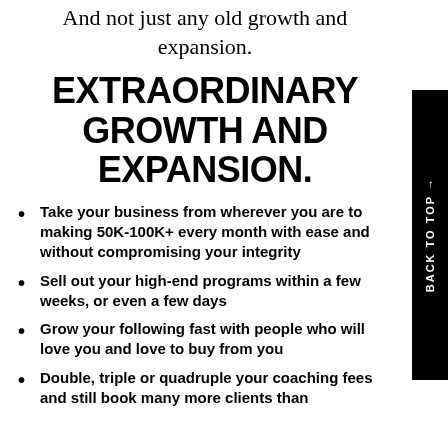And not just any old growth and expansion.
EXTRAORDINARY GROWTH AND EXPANSION.
Take your business from wherever you are to making 50K-100K+ every month with ease and without compromising your integrity
Sell out your high-end programs within a few weeks, or even a few days
Grow your following fast with people who will love you and love to buy from you
Double, triple or quadruple your coaching fees and still book many more clients than